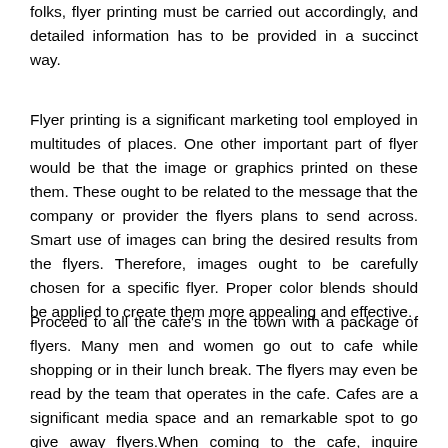folks, flyer printing must be carried out accordingly, and detailed information has to be provided in a succinct way.
Flyer printing is a significant marketing tool employed in multitudes of places. One other important part of flyer would be that the image or graphics printed on these them. These ought to be related to the message that the company or provider the flyers plans to send across. Smart use of images can bring the desired results from the flyers. Therefore, images ought to be carefully chosen for a specific flyer. Proper color blends should be applied to create them more appealing and effective.
Proceed to all the cafe's in the town with a package of flyers. Many men and women go out to cafe while shopping or in their lunch break. The flyers may even be read by the team that operates in the cafe. Cafes are a significant media space and an remarkable spot to go give away flyers.When coming to the cafe, inquire whether it's going to be all right to leave some of your flyers to the tables. You will possibly work out a deal where flyers handed out at a particular cafe will contain coupons for that cafe on the bottom flyer. Cafes are accountable to agree with this arrangement as it gives them fine free advertisements. You might get a better response if you provide to place coupons because of their